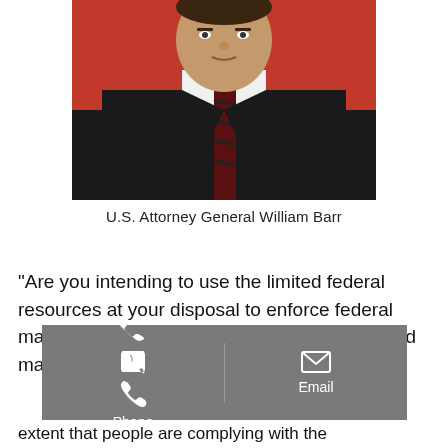[Figure (photo): Official portrait photo of U.S. Attorney General William Barr in a black suit with a striped tie, American flag visible in background]
U.S. Attorney General William Barr
“Are you intending to use the limited federal resources at your disposal to enforce federal marijuana laws in the states that have legalized marijuana,” asked Sen. Harris
extent that people are complying with the